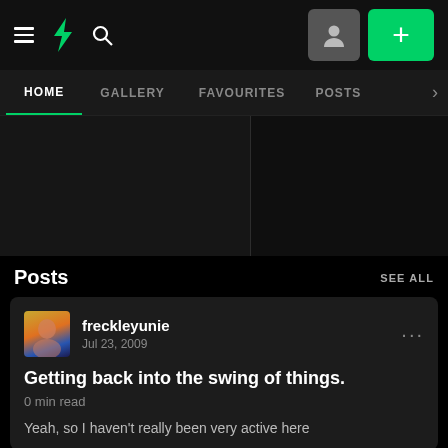DeviantArt navigation bar with hamburger menu, DA logo, search icon, profile button, and add (+) button
HOME | GALLERY | FAVOURITES | POSTS
[Figure (screenshot): Dark gallery area with two panels separated by a vertical divider]
Posts   SEE ALL
freckleyunie
Jul 23, 2009
Getting back into the swing of things.
0 min read
Yeah, so I haven't really been very active here